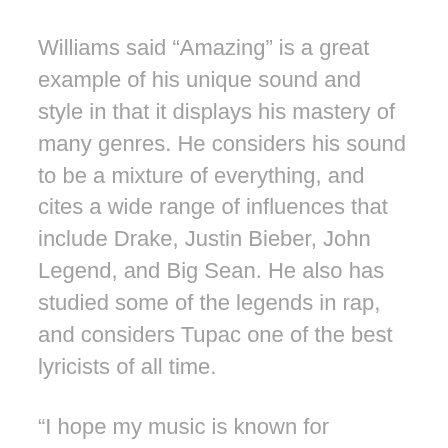Williams said “Amazing” is a great example of his unique sound and style in that it displays his mastery of many genres. He considers his sound to be a mixture of everything, and cites a wide range of influences that include Drake, Justin Bieber, John Legend, and Big Sean. He also has studied some of the legends in rap, and considers Tupac one of the best lyricists of all time.
“I hope my music is known for bringing new things to the table,” he said. “I want to bring a new sound that incorporates a variety of different genres. And mostly I want to make something that makes people happy and makes them want to dance.”
Music is something that’s been a mainstay in Williams’ life from the time he was born. His grandfather is the